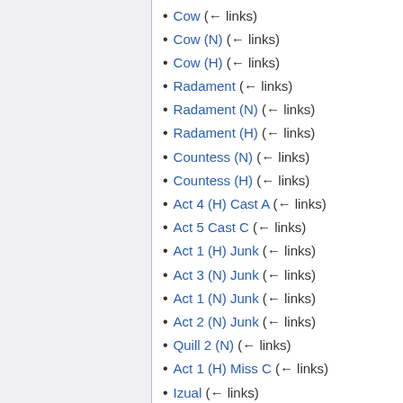Cow  (← links)
Cow (N)  (← links)
Cow (H)  (← links)
Radament  (← links)
Radament (N)  (← links)
Radament (H)  (← links)
Countess (N)  (← links)
Countess (H)  (← links)
Act 4 (H) Cast A  (← links)
Act 5 Cast C  (← links)
Act 1 (H) Junk  (← links)
Act 3 (N) Junk  (← links)
Act 1 (N) Junk  (← links)
Act 2 (N) Junk  (← links)
Quill 2 (N)  (← links)
Act 1 (H) Miss C  (← links)
Izual  (← links)
Izual (N)  (← links)
Izual (H)  (← links)